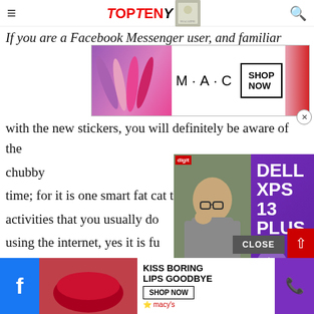TopTeny
If you are a Facebook Messenger user, and familiar with the new stickers, you will definitely be aware of the chubby cat in no time; for it is one smart fat cat that can do all the activities that you usually do using the internet, yes it is fun great popularity among all the like it was promoted from being a sticker on Facebook, to be a tattoo permanently inked on skin. Way to go Pusheen!
[Figure (advertisement): MAC cosmetics advertisement with lipsticks and SHOP NOW button]
[Figure (advertisement): Dell XPS 13 Plus video advertisement with person reacting]
[Figure (advertisement): Macy's KISS BORING LIPS GOODBYE advertisement with SHOP NOW button]